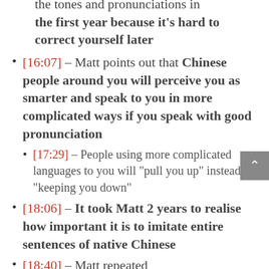the tones and pronunciations in the first year because it's hard to correct yourself later
[16:07] – Matt points out that Chinese people around you will perceive you as smarter and speak to you in more complicated ways if you speak with good pronunciation
[17:29] – People using more complicated languages to you will “pull you up” instead of “keeping you down”
[18:06] – It took Matt 2 years to realise how important it is to imitate entire sentences of native Chinese
[18:40] – Matt repeated